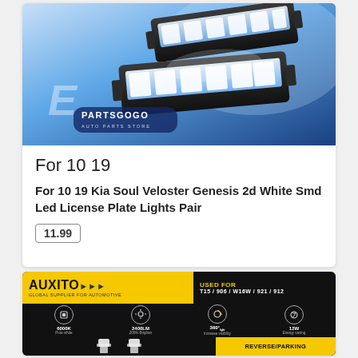[Figure (photo): Product image showing LED license plate lights on blue background with PARTSGOGO auto parts store logo]
For 10 19
For 10 19 Kia Soul Veloster Genesis 2d White Smd Led License Plate Lights Pair
11.99
[Figure (photo): AUXITO brand automotive LED bulb product packaging. Yellow and black design. USED FOR T15/906/W16W/921/912. Icons showing 6000K Pure White, 2400LM 200% Brighter, 360° light increase visibility, 12W Energy saving. REVERSE/PARKING label.]